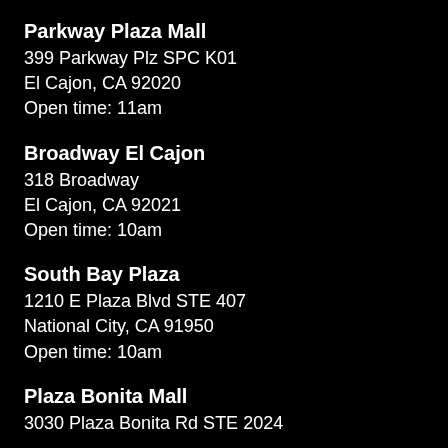Parkway Plaza Mall
399 Parkway Plz SPC K01
El Cajon, CA 92020
Open time: 11am
Broadway El Cajon
318 Broadway
El Cajon, CA 92021
Open time: 10am
South Bay Plaza
1210 E Plaza Blvd STE 407
National City, CA 91950
Open time: 10am
Plaza Bonita Mall
3030 Plaza Bonita Rd STE 2024